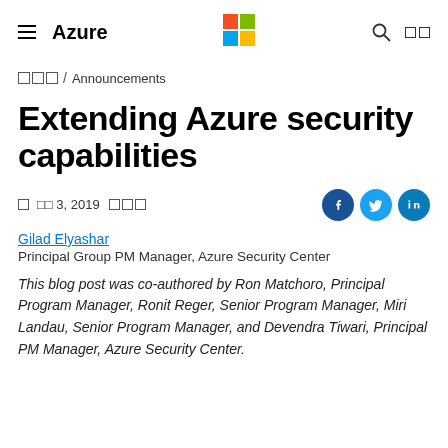≡ Azure / Microsoft Logo / Search / Portal
□□□ / Announcements
Extending Azure security capabilities
□ □□ 3, 2019 □□□
Gilad Elyashar
Principal Group PM Manager, Azure Security Center
This blog post was co-authored by Ron Matchoro, Principal Program Manager, Ronit Reger, Senior Program Manager, Miri Landau, Senior Program Manager, and Devendra Tiwari, Principal PM Manager, Azure Security Center.